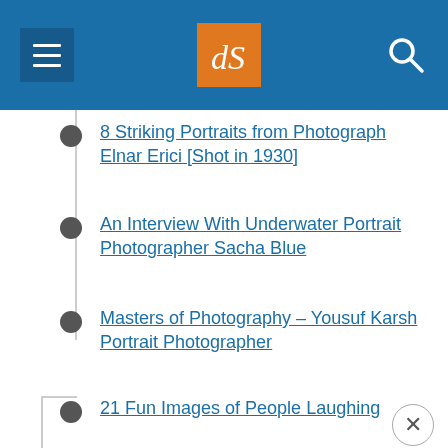dPS navigation menu header
8 Striking Portraits from Photograph Elnar Erici [Shot in 1930]
An Interview With Underwater Portrait Photographer Sacha Blue
Masters of Photography – Yousuf Karsh Portrait Photographer
21 Fun Images of People Laughing
RESOURCES
Portrait Photography: Secrets of Posing & Lighting [Book Review]
The Luminous Portrait: Book Review